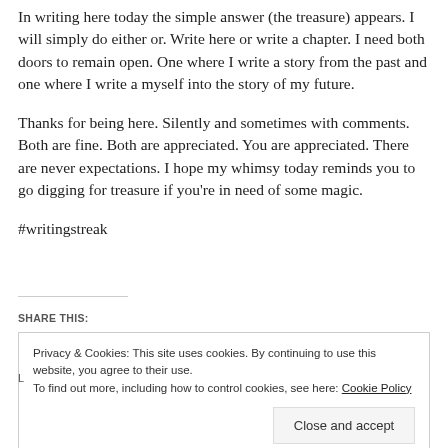In writing here today the simple answer (the treasure) appears. I will simply do either or. Write here or write a chapter. I need both doors to remain open. One where I write a story from the past and one where I write a myself into the story of my future.
Thanks for being here. Silently and sometimes with comments. Both are fine. Both are appreciated. You are appreciated. There are never expectations. I hope my whimsy today reminds you to go digging for treasure if you’re in need of some magic.
#writingstreak
SHARE THIS:
Privacy & Cookies: This site uses cookies. By continuing to use this website, you agree to their use.
To find out more, including how to control cookies, see here: Cookie Policy
Close and accept